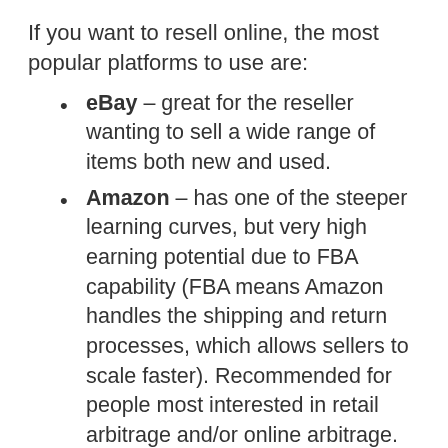If you want to resell online, the most popular platforms to use are:
eBay – great for the reseller wanting to sell a wide range of items both new and used.
Amazon – has one of the steeper learning curves, but very high earning potential due to FBA capability (FBA means Amazon handles the shipping and return processes, which allows sellers to scale faster). Recommended for people most interested in retail arbitrage and/or online arbitrage.
Mercari – most beginner friendly platform, with the same versatility as eBay. You can even ship items locally by having an Uber driver pick up and drop off shipments! Don't miss these other Mercari selling tips.